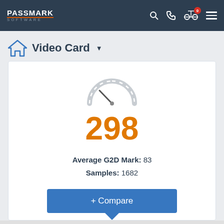PassMark Software
Video Card
[Figure (other): Speedometer/gauge icon in light gray]
298
Average G2D Mark: 83
Samples: 1682
+ Compare